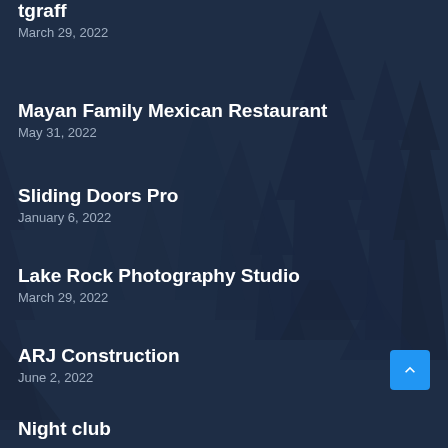tgraff
March 29, 2022
Mayan Family Mexican Restaurant
May 31, 2022
Sliding Doors Pro
January 6, 2022
Lake Rock Photography Studio
March 29, 2022
ARJ Construction
June 2, 2022
Night club